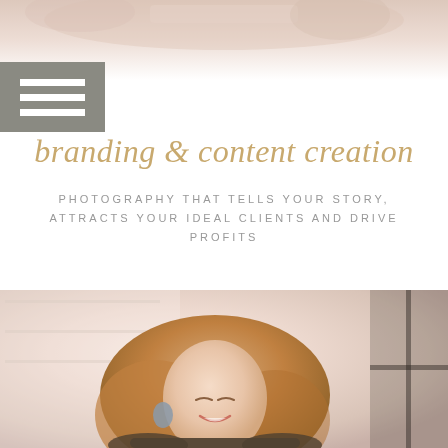[Figure (photo): Top cropped photo showing hands or objects with soft blush/pink tones, partial view]
[Figure (logo): Hamburger/navigation menu icon with three horizontal white lines on grey-green background]
branding & content creation
PHOTOGRAPHY THAT TELLS YOUR STORY, ATTRACTS YOUR IDEAL CLIENTS AND DRIVE PROFITS
[Figure (photo): Photo of a smiling blonde woman with blue/grey earrings in a soft light studio environment, looking downward, wearing dark clothing]